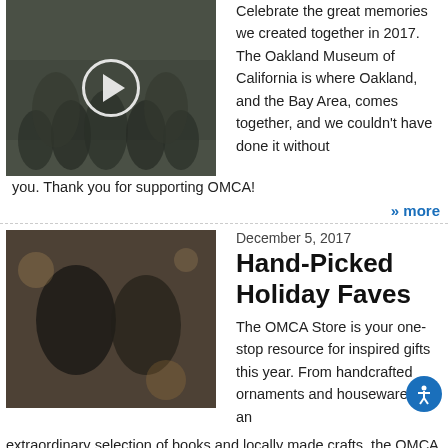[Figure (photo): People dancing at an event with a play button overlay]
Celebrate the great memories we created together in 2017. The Oakland Museum of California is where Oakland, and the Bay Area, comes together, and we couldn't have done it without you. Thank you for supporting OMCA!
» more
[Figure (photo): Two people smiling and looking at something together in a store setting]
December 5, 2017
Hand-Picked Holiday Faves
The OMCA Store is your one-stop resource for inspired gifts this year. From handcrafted ornaments and housewares to an extraordinary selection of books and locally made crafts, the OMCA Store is filled with cool gifts for everyone on your shopping list.
» more